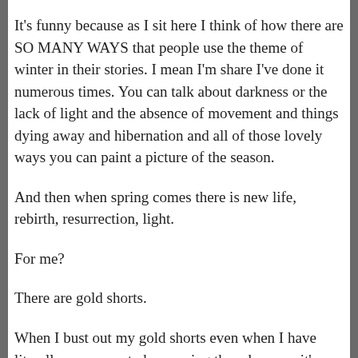It's funny because as I sit here I think of how there are SO MANY WAYS that people use the theme of winter in their stories. I mean I'm share I've done it numerous times. You can talk about darkness or the lack of light and the absence of movement and things dying away and hibernation and all of those lovely ways you can paint a picture of the season.
And then when spring comes there is new life, rebirth, resurrection, light.
For me?
There are gold shorts.
When I bust out my gold shorts even when I have literally no reason to be wearing them because it's still actually cold out, I am saying NOPE ALL DONE. I am saying to the world